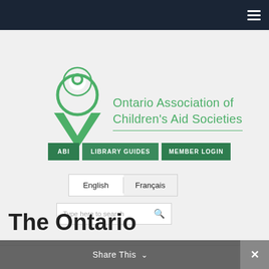[Figure (screenshot): Website header of the Ontario Association of Children's Aid Societies with navigation bar, logo, nav buttons (ABI, Library Guides, Member Login), language toggle (English/Français), and search bar.]
Ontario Association of Children's Aid Societies
ABI  LIBRARY GUIDES  MEMBER LOGIN
English  Français
Type here to search
The Ontario
Share This